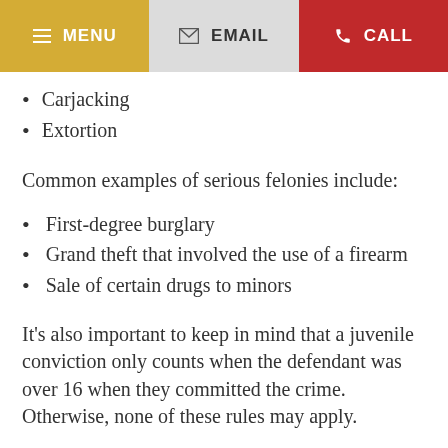MENU | EMAIL | CALL
Carjacking
Extortion
Common examples of serious felonies include:
First-degree burglary
Grand theft that involved the use of a firearm
Sale of certain drugs to minors
It’s also important to keep in mind that a juvenile conviction only counts when the defendant was over 16 when they committed the crime. Otherwise, none of these rules may apply.
There are certain serious crimes that come with